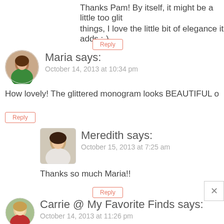Thanks Pam! By itself, it might be a little too glit things, I love the little bit of elegance it adds :-)
Reply
[Figure (photo): Avatar photo of Maria, a woman with brown hair, smiling, in a green top]
Maria says:
October 14, 2013 at 10:34 pm
How lovely! The glittered monogram looks BEAUTIFUL o
Reply
[Figure (photo): Avatar photo of Meredith, a woman with dark hair wearing a white top]
Meredith says:
October 15, 2013 at 7:25 am
Thanks so much Maria!!
Reply
[Figure (photo): Avatar photo of Carrie, a woman with blonde hair outdoors]
Carrie @ My Favorite Finds says:
October 14, 2013 at 11:26 pm
Meredith, I love it! I mean really love it! I can't wait to m adhesive Silhouette paper!